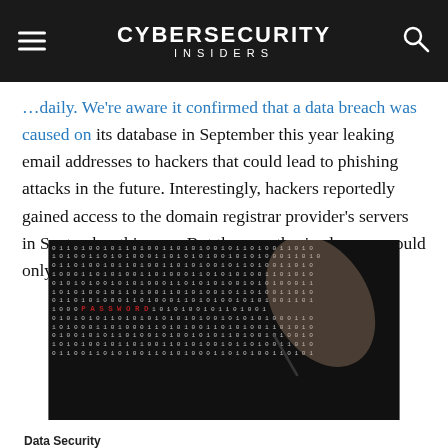Cybersecurity INSIDERS
…daily. We're aware it confirmed that a data breach was caused on its database in September this year leaking email addresses to hackers that could lead to phishing attacks in the future. Interestingly, hackers reportedly gained access to the domain registrar provider's servers in September this year. But the unauthorized access could only be detected […]
[Figure (photo): Close-up of a screen displaying binary code (0s and 1s) with the word PASSWORD highlighted in red, and a hand holding a stylus or pen pointing at the screen.]
Data Security